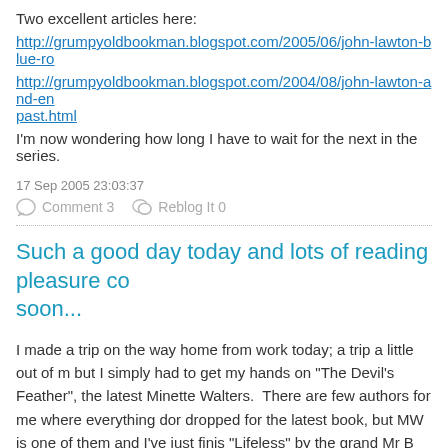Two excellent articles here:
http://grumpyoldbookman.blogspot.com/2005/06/john-lawton-blue-ro
http://grumpyoldbookman.blogspot.com/2004/08/john-lawton-and-en past.html
I'm now wondering how long I have to wait for the next in the series.
17 Sep 2005 23:03:37
Comment 3   Reblog It 0
Such a good day today and lots of reading pleasure co soon...
I made a trip on the way home from work today; a trip a little out of m but I simply had to get my hands on "The Devil's Feather", the latest Minette Walters.  There are few authors for me where everything dor dropped for the latest book, but MW is one of them and I've just finis "Lifeless" by the grand Mr B (more on that one on the weekend as w prior book "The Burning Girl").
I'm new to this blog lark, so please excuse me if I prepare a nice little